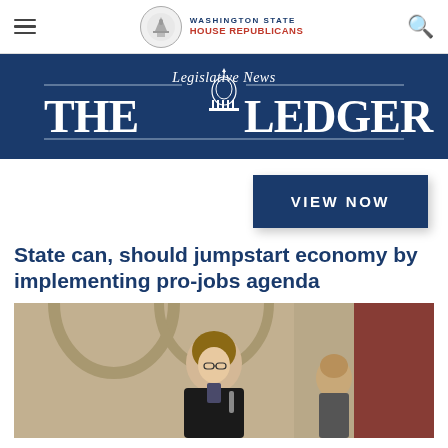Washington State House Republicans — navigation bar with hamburger menu, logo, and search icon
[Figure (logo): The Ledger — Legislative News banner with capitol dome illustration on dark navy background]
VIEW NOW
State can, should jumpstart economy by implementing pro-jobs agenda
[Figure (photo): Photo of a woman speaking at a podium or in a legislative chamber setting]